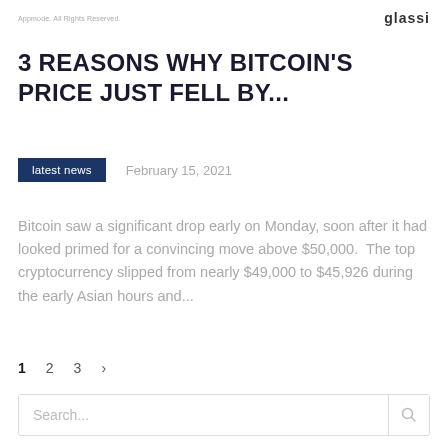Appmode. All Rights Reserved.   glassi
3 REASONS WHY BITCOIN'S PRICE JUST FELL BY...
latest news   February 15, 2021
Bitcoin saw a significant drop early on Monday, soon after it had looked primed for a convincing move above $50,000.  The top cryptocurrency slipped from nearly $49,000 to $45,926 during the early Asian hours and...
1   2   3   >
Search...